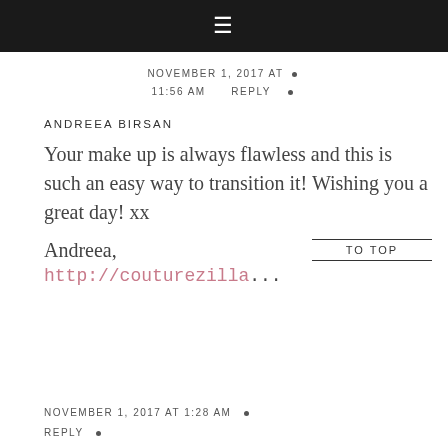≡
NOVEMBER 1, 2017 AT • 11:56 AM   REPLY •
ANDREEA BIRSAN
Your make up is always flawless and this is such an easy way to transition it! Wishing you a great day! xx
Andreea, http://couturezilla...   TO TOP
NOVEMBER 1, 2017 AT 1:28 AM •
REPLY •